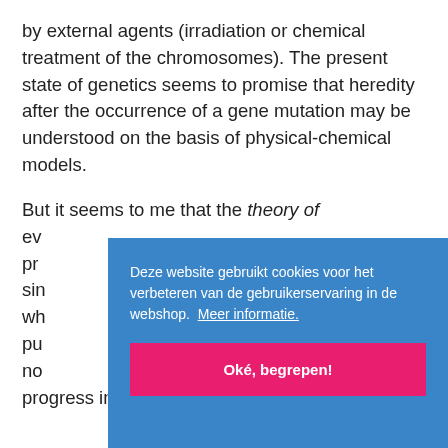by external agents (irradiation or chemical treatment of the chromosomes). The present state of genetics seems to promise that heredity after the occurrence of a gene mutation may be understood on the basis of physical-chemical models.
But it seems to me that the theory of ev... pr... sin... wh... pu... no... progress in genetics that has been made
Deze website gebruikt cookies voor het verbeteren van de gebruikerservaring in de webshop.  Meer informatie.
Oké, begrepen!